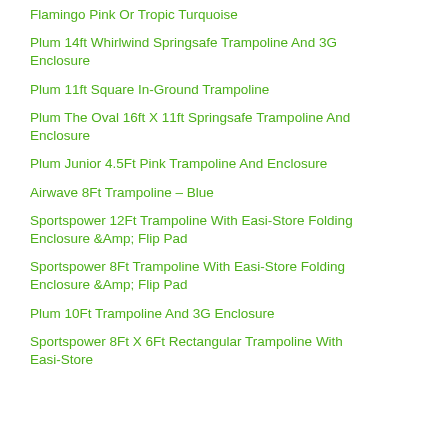Flamingo Pink Or Tropic Turquoise
Plum 14ft Whirlwind Springsafe Trampoline And 3G Enclosure
Plum 11ft Square In-Ground Trampoline
Plum The Oval 16ft X 11ft Springsafe Trampoline And Enclosure
Plum Junior 4.5Ft Pink Trampoline And Enclosure
Airwave 8Ft Trampoline – Blue
Sportspower 12Ft Trampoline With Easi-Store Folding Enclosure &Amp; Flip Pad
Sportspower 8Ft Trampoline With Easi-Store Folding Enclosure &Amp; Flip Pad
Plum 10Ft Trampoline And 3G Enclosure
Sportspower 8Ft X 6Ft Rectangular Trampoline With Easi-Store